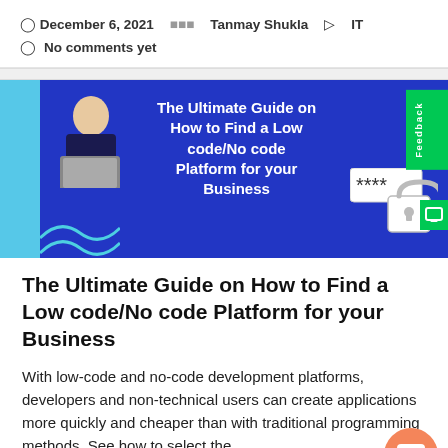December 6, 2021  Tanmay Shukla  IT  No comments yet
[Figure (illustration): Banner image for article: 'The Ultimate Guide on How to Find a Low code/No code Platform for your Business'. Blue background with a cartoon developer figure and a password/lock icon. Light blue outer background.]
The Ultimate Guide on How to Find a Low code/No code Platform for your Business
With low-code and no-code development platforms, developers and non-technical users can create applications more quickly and cheaper than with traditional programming methods. See how to select the